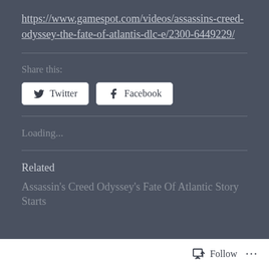https://www.gamespot.com/videos/assassins-creed-odyssey-the-fate-of-atlantis-dlc-e/2300-6449229/
Share this:
[Figure (other): Twitter and Facebook share buttons]
Loading...
Related
Assassin's Creed Odyssey's Fate Of Atlantic Story Starts
Follow ...